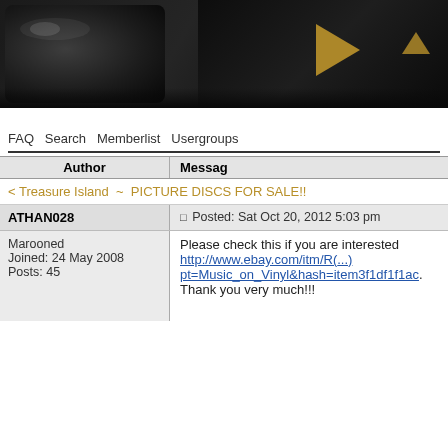[Figure (photo): Dark banner image showing a partially visible face with dramatic lighting, golden triangle play button icons on the right side, grainy black and white style]
FAQ  Search  Memberlist  Usergroups
| Author | Message |
| --- | --- |
| < Treasure Island ~ PICTURE DISCS FOR SALE!! |  |
| ATHAN028 | Posted: Sat Oct 20, 2012 5:03 pm |
| Marooned
Joined: 24 May 2008
Posts: 45 | Please check this if you are interested http://www.ebay.com/itm/R(...) pt=Music_on_Vinyl&hash=item3f1df1f1ac.
Thank you very much!!! |